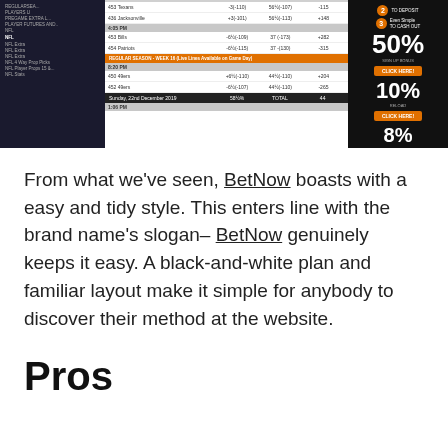[Figure (screenshot): Screenshot of BetNow betting website showing odds table on the left and right side showing bonus promotions: 50% sign up bonus, 10% reload, and 8% offer with orange click here buttons.]
From what we've seen, BetNow boasts with a easy and tidy style. This enters line with the brand name's slogan– BetNow genuinely keeps it easy. A black-and-white plan and familiar layout make it simple for anybody to discover their method at the website.
Pros